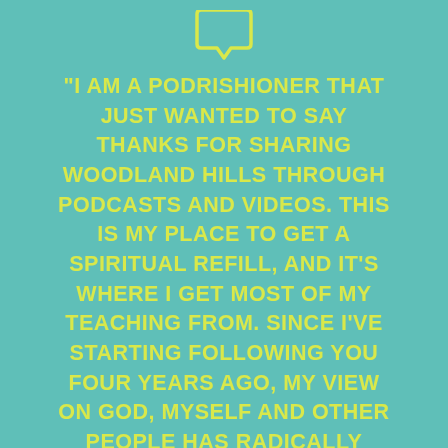[Figure (illustration): A coffee cup / speech bubble icon outline in yellow-green at the top center of the teal background]
"I AM A PODRISHIONER THAT JUST WANTED TO SAY THANKS FOR SHARING WOODLAND HILLS THROUGH PODCASTS AND VIDEOS. THIS IS MY PLACE TO GET A SPIRITUAL REFILL, AND IT'S WHERE I GET MOST OF MY TEACHING FROM. SINCE I'VE STARTING FOLLOWING YOU FOUR YEARS AGO, MY VIEW ON GOD, MYSELF AND OTHER PEOPLE HAS RADICALLY BEEN CHANGED. THANKS SO MUCH, AND KEEP